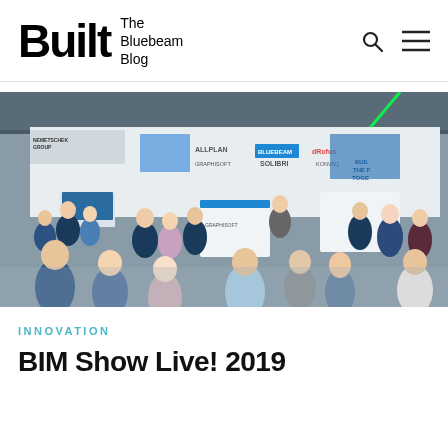Built The Bluebeam Blog
[Figure (photo): Overhead view of a busy trade show floor showing the Nemetschek Group booth with Allplan, Bluebeam, dRofus, Graphisoft, Solibri, and Konvaq brand logos on white backdrops. Many attendees in business attire interact with laptops, tablets, and monitors at the display stands.]
INNOVATION
BIM Show Live! 2019